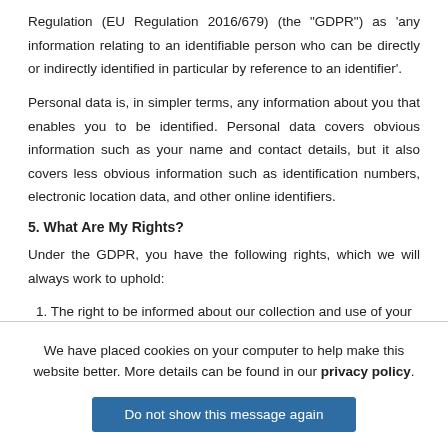Regulation (EU Regulation 2016/679) (the "GDPR") as 'any information relating to an identifiable person who can be directly or indirectly identified in particular by reference to an identifier'.
Personal data is, in simpler terms, any information about you that enables you to be identified. Personal data covers obvious information such as your name and contact details, but it also covers less obvious information such as identification numbers, electronic location data, and other online identifiers.
5. What Are My Rights?
Under the GDPR, you have the following rights, which we will always work to uphold:
1. The right to be informed about our collection and use of your
We have placed cookies on your computer to help make this website better. More details can be found in our privacy policy.